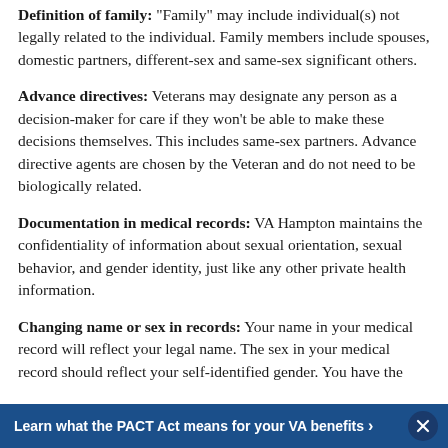Definition of family: "Family" may include individual(s) not legally related to the individual. Family members include spouses, domestic partners, different-sex and same-sex significant others.
Advance directives: Veterans may designate any person as a decision-maker for care if they won't be able to make these decisions themselves. This includes same-sex partners. Advance directive agents are chosen by the Veteran and do not need to be biologically related.
Documentation in medical records: VA Hampton maintains the confidentiality of information about sexual orientation, sexual behavior, and gender identity, just like any other private health information.
Changing name or sex in records: Your name in your medical record will reflect your legal name. The sex in your medical record should reflect your self-identified gender. You have the...
Learn what the PACT Act means for your VA benefits >